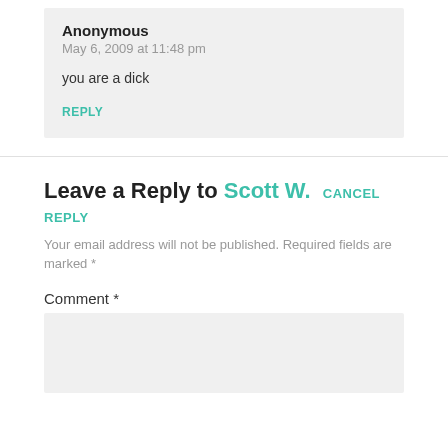Anonymous
May 6, 2009 at 11:48 pm
you are a dick
REPLY
Leave a Reply to Scott W. CANCEL REPLY
Your email address will not be published. Required fields are marked *
Comment *